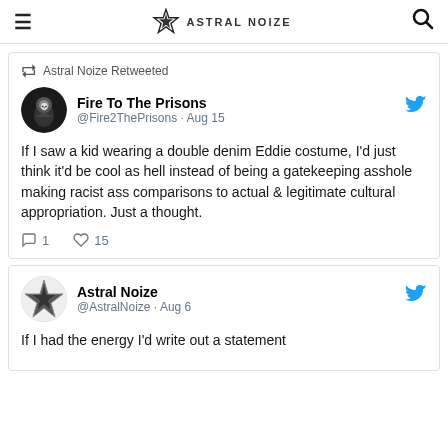Astral Noize
Astral Noize Retweeted
Fire To The Prisons @Fire2ThePrisons · Aug 15
If I saw a kid wearing a double denim Eddie costume, I'd just think it'd be cool as hell instead of being a gatekeeping asshole making racist ass comparisons to actual & legitimate cultural appropriation. Just a thought.
1 reply, 15 likes
Astral Noize @AstralNoize · Aug 6
If I had the energy I'd write out a statement